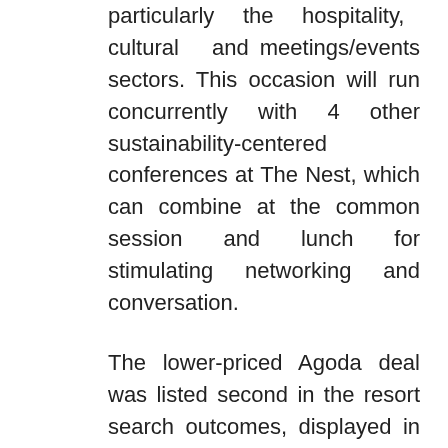particularly the hospitality, cultural and meetings/events sectors. This occasion will run concurrently with 4 other sustainability-centered conferences at The Nest, which can combine at the common session and lunch for stimulating networking and conversation.
The lower-priced Agoda deal was listed second in the resort search outcomes, displayed in small gray textual content along with several others. In reality, Trivago discovered multiple hotel deals decrease than that Booking.com price, however none obtained top billing for some cause. This happened in a number of different circumstances too, where the lead price ended up larger than best hotel costs that Trivago might discover.
The finest solution may be to combine the need of